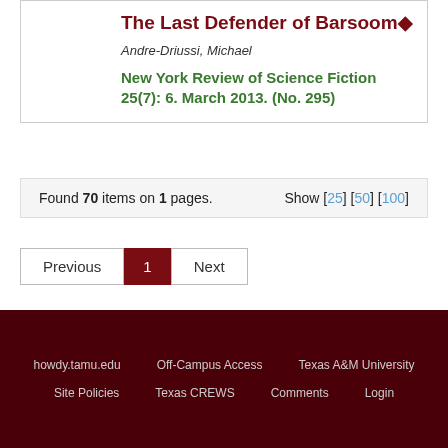The Last Defender of Barsoom◆
Andre-Driussi, Michael
New York Review of Science Fiction 25(7): 6. March 2013. (No. 295)
Found 70 items on 1 pages. Show [25] [50] [100]
Previous 1 Next
howdy.tamu.edu   Off-Campus Access   Texas A&M University   Site Policies   Texas CREWS   Comments   Login